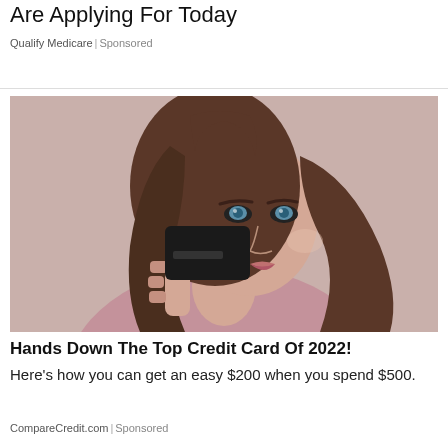Are Applying For Today
Qualify Medicare | Sponsored
[Figure (photo): Young woman with brown hair holding up a black credit card against a pinkish-beige background, wearing an off-shoulder sweater]
Hands Down The Top Credit Card Of 2022!
Here's how you can get an easy $200 when you spend $500.
CompareCredit.com | Sponsored